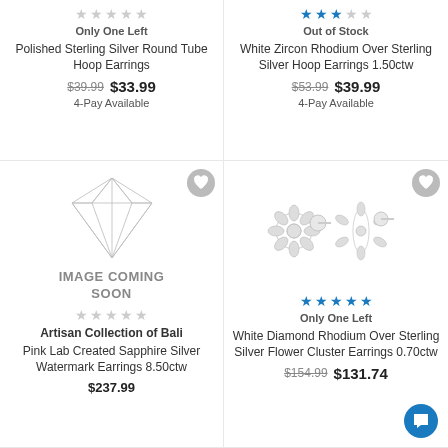Only One Left
Polished Sterling Silver Round Tube Hoop Earrings
$39.99  $33.99  4-Pay Available
Out of Stock
White Zircon Rhodium Over Sterling Silver Hoop Earrings 1.50ctw
$53.99  $39.99  4-Pay Available
[Figure (illustration): Diamond outline placeholder image with text IMAGE COMING SOON]
Artisan Collection of Bali
Pink Lab Created Sapphire Silver Watermark Earrings 8.50ctw
$237.99
[Figure (photo): White diamond flower cluster stud earrings with butterfly backs]
Only One Left
White Diamond Rhodium Over Sterling Silver Flower Cluster Earrings 0.70ctw
$154.99  $131.74